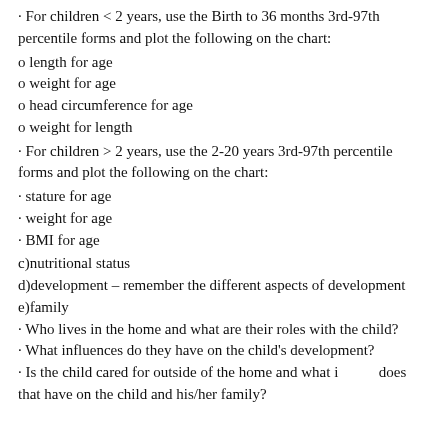· For children < 2 years, use the Birth to 36 months 3rd-97th percentile forms and plot the following on the chart:
o length for age
o weight for age
o head circumference for age
o weight for length
· For children > 2 years, use the 2-20 years 3rd-97th percentile forms and plot the following on the chart:
· stature for age
· weight for age
· BMI for age
c)nutritional status
d)development – remember the different aspects of development
e)family
· Who lives in the home and what are their roles with the child?
· What influences do they have on the child's development?
· Is the child cared for outside of the home and what impact does that have on the child and his/her family?